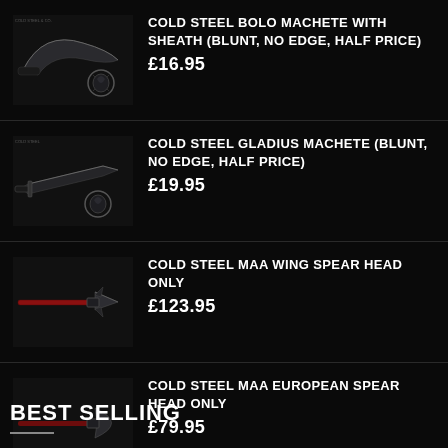[Figure (photo): Cold Steel Bolo Machete with sheath product photo on dark background]
COLD STEEL BOLO MACHETE WITH SHEATH (BLUNT, NO EDGE, HALF PRICE)
£16.95
[Figure (photo): Cold Steel Gladius Machete product photo on dark background]
COLD STEEL GLADIUS MACHETE (BLUNT, NO EDGE, HALF PRICE)
£19.95
[Figure (photo): Cold Steel MAA Wing Spear Head product photo on dark background]
COLD STEEL MAA WING SPEAR HEAD ONLY
£123.95
[Figure (photo): Cold Steel MAA European Spear Head product photo on dark background]
COLD STEEL MAA EUROPEAN SPEAR HEAD ONLY
£79.95
BEST SELLING